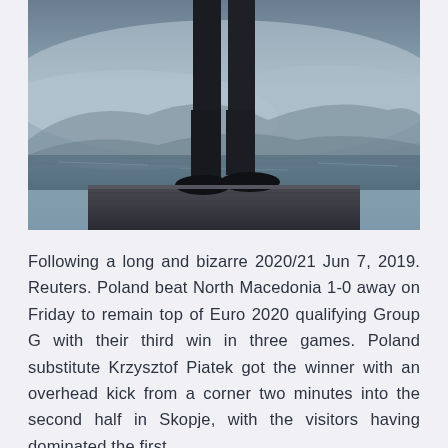[Figure (photo): A person standing on a wooden dock or pier, seen from waist down, wearing dark pants and dark shoes. Misty, foggy blue-grey lake or water scene in background with mountains obscured by fog.]
Following a long and bizarre 2020/21 Jun 7, 2019. Reuters. Poland beat North Macedonia 1-0 away on Friday to remain top of Euro 2020 qualifying Group G with their third win in three games. Poland substitute Krzysztof Piatek got the winner with an overhead kick from a corner two minutes into the second half in Skopje, with the visitors having dominated the first